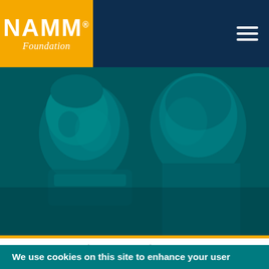[Figure (logo): NAMM Foundation logo — white text on amber/gold background with 'NAMM' in bold and 'Foundation' in italic below]
[Figure (photo): Two children looking down, playing musical instruments, with a teal/dark blue color overlay on the photo]
December 07, 2021 | Carlsbad, CA |
Music in the News, Foundation News
We use cookies on this site to enhance your user